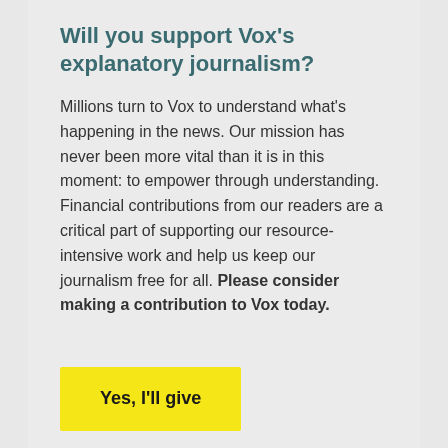Will you support Vox's explanatory journalism?
Millions turn to Vox to understand what's happening in the news. Our mission has never been more vital than it is in this moment: to empower through understanding. Financial contributions from our readers are a critical part of supporting our resource-intensive work and help us keep our journalism free for all. Please consider making a contribution to Vox today.
Yes, I'll give